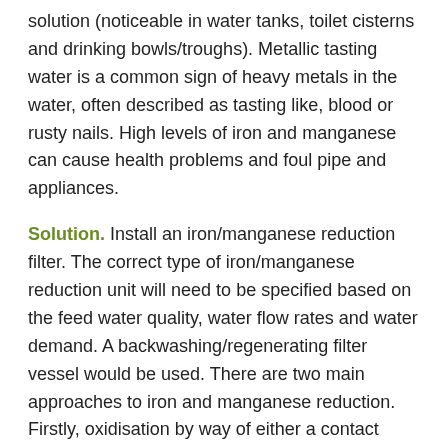solution (noticeable in water tanks, toilet cisterns and drinking bowls/troughs). Metallic tasting water is a common sign of heavy metals in the water, often described as tasting like, blood or rusty nails. High levels of iron and manganese can cause health problems and foul pipe and appliances.
Solution. Install an iron/manganese reduction filter. The correct type of iron/manganese reduction unit will need to be specified based on the feed water quality, water flow rates and water demand. A backwashing/regenerating filter vessel would be used. There are two main approaches to iron and manganese reduction. Firstly, oxidisation by way of either a contact assembly (oxidiser) before the iron/manganese reduction vessel or an air draw valve adapted to the electronic control valve. These medias require a pH of 7 for